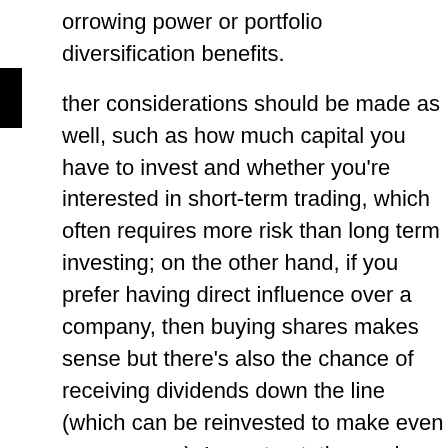orrowing power or portfolio diversification benefits.
ther considerations should be made as well, such as how much capital you have to invest and whether you're interested in short-term trading, which often requires more risk than long term investing; on the other hand, if you prefer having direct influence over a company, then buying shares makes sense but there's also the chance of receiving dividends down the line (which can be reinvested to make even more money). In contrast, those who trade daily may not own any securities since they mostly rely on their ability to predict price movements rather than being an actual shareholder.
ach strategy has its advantages depending upon your goals, so it comes down to what type of investor you want to be.